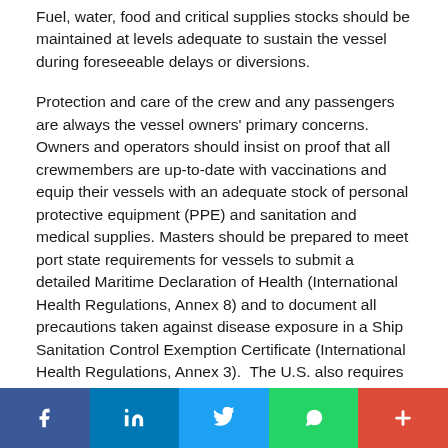Fuel, water, food and critical supplies stocks should be maintained at levels adequate to sustain the vessel during foreseeable delays or diversions.
Protection and care of the crew and any passengers are always the vessel owners' primary concerns. Owners and operators should insist on proof that all crewmembers are up-to-date with vaccinations and equip their vessels with an adequate stock of personal protective equipment (PPE) and sanitation and medical supplies. Masters should be prepared to meet port state requirements for vessels to submit a detailed Maritime Declaration of Health (International Health Regulations, Annex 8) and to document all precautions taken against disease exposure in a Ship Sanitation Control Exemption Certificate (International Health Regulations, Annex 3). The U.S. also requires vessels to report to the CDC any crew or passenger illness or death within the last 15 days.
[Figure (infographic): Social media sharing bar with Facebook, LinkedIn, Twitter, WhatsApp, and Google+ buttons]